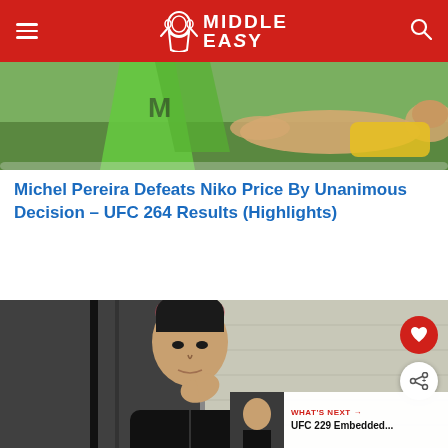Middle Easy
[Figure (photo): Fighter lying on ground, wearing green and yellow gear]
Michel Pereira Defeats Niko Price By Unanimous Decision – UFC 264 Results (Highlights)
[Figure (photo): Fighter with pink-tipped dark hair in black jacket, hand near face, in a gym setting. Overlay shows heart and share icons, plus 'What's Next: UFC 229 Embedded...' thumbnail panel]